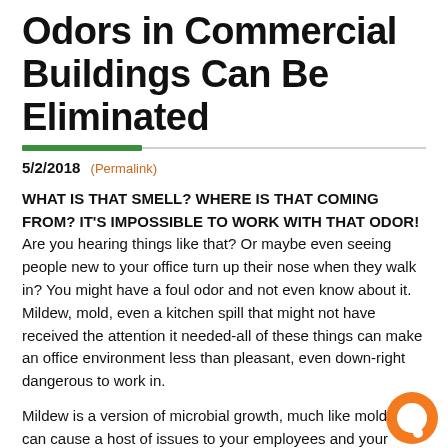Odors in Commercial Buildings Can Be Eliminated
5/2/2018 (Permalink)
WHAT IS THAT SMELL? WHERE IS THAT COMING FROM? IT'S IMPOSSIBLE TO WORK WITH THAT ODOR! Are you hearing things like that? Or maybe even seeing people new to your office turn up their nose when they walk in? You might have a foul odor and not even know about it. Mildew, mold, even a kitchen spill that might not have received the attention it needed-all of these things can make an office environment less than pleasant, even down-right dangerous to work in.
Mildew is a version of microbial growth, much like mold, that can cause a host of issues to your employees and your customers. Does your assistant suffer from allergies? Do you have more than a few sick calls a week? Is your office filled with items to change the way the office smells? You might be suffering from something that SERVPRO can help...